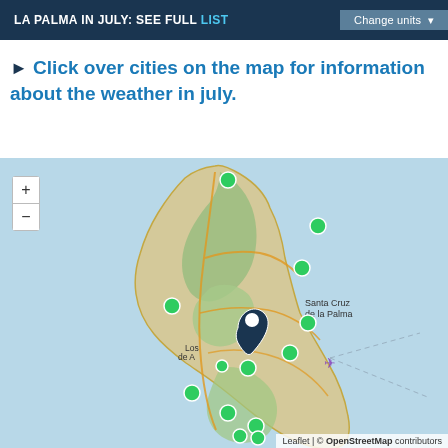LA PALMA IN JULY: SEE FULL LIST  Change units ▾
▶ Click over cities on the map for information about the weather in july.
[Figure (map): Interactive map of La Palma island showing multiple green circle markers at various city locations, a dark blue location pin marker near Los Llanos de Aridane, zoom in/out controls, and labels for Santa Cruz de la Palma and Los Llanos de Aridane. An airplane icon is visible near the east coast. The map uses OpenStreetMap tiles with ocean shown in light blue and land in beige/green tones.]
Leaflet | © OpenStreetMap contributors